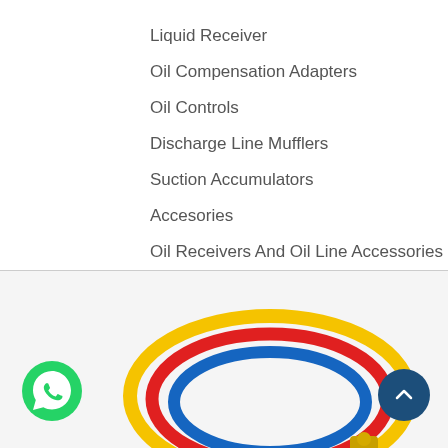Liquid Receiver
Oil Compensation Adapters
Oil Controls
Discharge Line Mufflers
Suction Accumulators
Accesories
Oil Receivers And Oil Line Accessories
[Figure (photo): Coiled refrigerant charging hoses in yellow, red, and blue colors with brass fittings, along with WhatsApp contact button and scroll-to-top button]